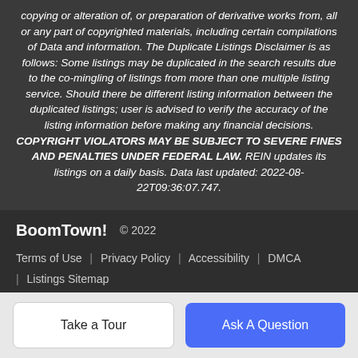copying or alteration of, or preparation of derivative works from, all or any part of copyrighted materials, including certain compilations of Data and information. The Duplicate Listings Disclaimer is as follows: Some listings may be duplicated in the search results due to the co-mingling of listings from more than one multiple listing service. Should there be different listing information between the duplicated listings; user is advised to verify the accuracy of the listing information before making any financial decisions. COPYRIGHT VIOLATORS MAY BE SUBJECT TO SEVERE FINES AND PENALTIES UNDER FEDERAL LAW. REIN updates its listings on a daily basis. Data last updated: 2022-08-22T09:36:07.747.
BoomTown! © 2022  Terms of Use | Privacy Policy | Accessibility | DMCA | Listings Sitemap
Take a Tour
Ask A Question